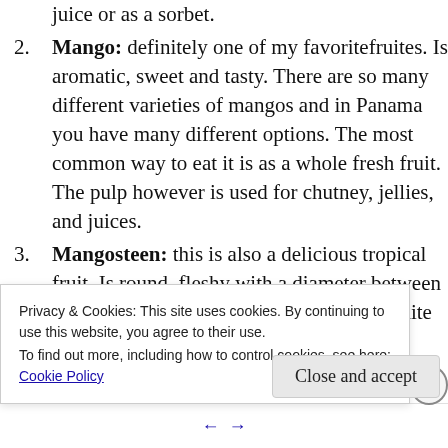juice or as a sorbet.
Mango: definitely one of my favoritefruites. Is aromatic, sweet and tasty. There are so many different varieties of mangos and in Panama you have many different options. The most common way to eat it is as a whole fresh fruit. The pulp however is used for chutney, jellies, and juices.
Mangosteen: this is also a delicious tropical fruit. Is round, fleshy with a diameter between 6 and 7cm and smoth skin. The flesh is white and sweet and very juicy. It is
Privacy & Cookies: This site uses cookies. By continuing to use this website, you agree to their use.
To find out more, including how to control cookies, see here:
Cookie Policy
Close and accept